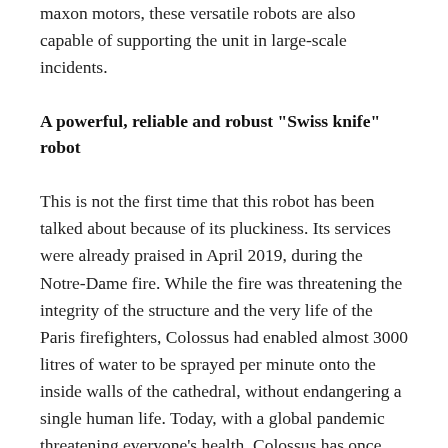maxon motors, these versatile robots are also capable of supporting the unit in large-scale incidents.
A powerful, reliable and robust "Swiss knife" robot
This is not the first time that this robot has been talked about because of its pluckiness. Its services were already praised in April 2019, during the Notre-Dame fire. While the fire was threatening the integrity of the structure and the very life of the Paris firefighters, Colossus had enabled almost 3000 litres of water to be sprayed per minute onto the inside walls of the cathedral, without endangering a single human life. Today, with a global pandemic threatening everyone's health, Colossus has once again been called in to help out.